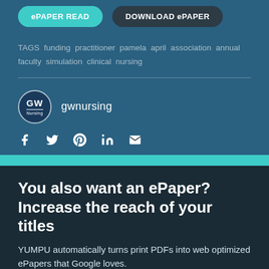ePAPER READ   DOWNLOAD ePAPER
TAGS funding practitioner pamela april association annual faculty simulation clinical nursing
[Figure (logo): GW Nursing circular logo with text 'GW' and 'Nursing']
gwnursing
[Figure (infographic): Social media icons: Facebook, Twitter, Pinterest, LinkedIn, Email]
You also want an ePaper? Increase the reach of your titles
YUMPU automatically turns print PDFs into web optimized ePapers that Google loves.
START NOW